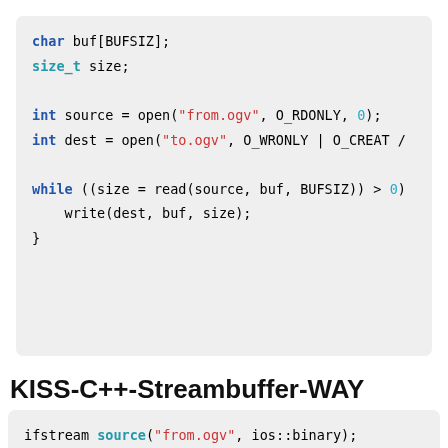char buf[BUFSIZ];
size_t size;

int source = open("from.ogv", O_RDONLY, 0);
int dest = open("to.ogv", O_WRONLY | O_CREAT /

while ((size = read(source, buf, BUFSIZ)) > 0)
    write(dest, buf, size);
}
KISS-C++-Streambuffer-WAY
ifstream source("from.ogv", ios::binary);
ofstream dest("to.ogv", ios::binary);